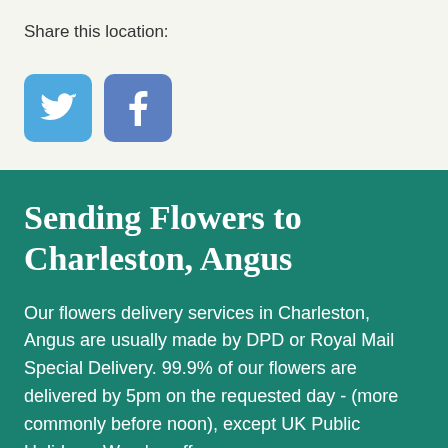Share this location:
[Figure (illustration): Two social media share buttons: Twitter (blue bird icon) and Facebook (blue f icon)]
Sending Flowers to Charleston, Angus
Our flowers delivery services in Charleston, Angus are usually made by DPD or Royal Mail Special Delivery. 99.9% of our flowers are delivered by 5pm on the requested day - (more commonly before noon), except UK Public Holidays. We also offer a